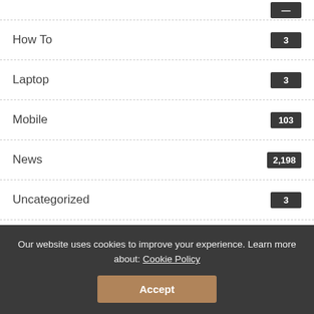Games — (partially visible at top)
How To 3
Laptop 3
Mobile 103
News 2,198
Uncategorized 3
You Might Also Enjoy
Our website uses cookies to improve your experience. Learn more about: Cookie Policy
Accept